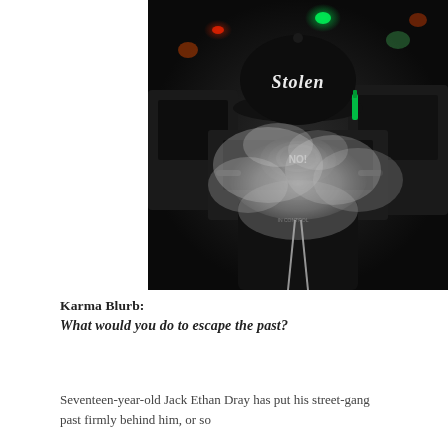[Figure (photo): A person wearing a black 'Stolen' branded baseball cap, dark goggles or mask, and a dark hoodie or jacket with text. The figure is surrounded by thick smoke or vapor. The background shows parked vehicles at night with blurred colorful lights.]
Karma Blurb:
What would you do to escape the past?
Seventeen-year-old Jack Ethan Dray has put his street-gang past firmly behind him, or so